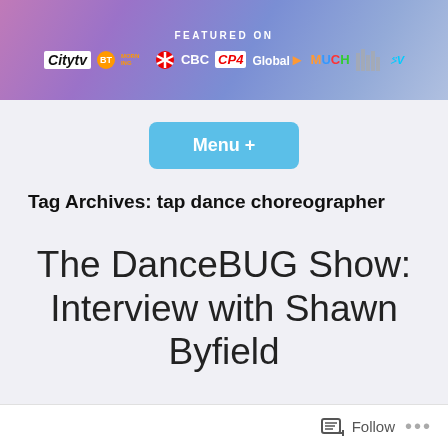[Figure (infographic): Featured On banner with media logos: Citytv, BT, Morning, CBC, CP24, Global, Much, JoyV on a purple-pink gradient background]
Menu +
Tag Archives: tap dance choreographer
The DanceBUG Show: Interview with Shawn Byfield
Follow ...